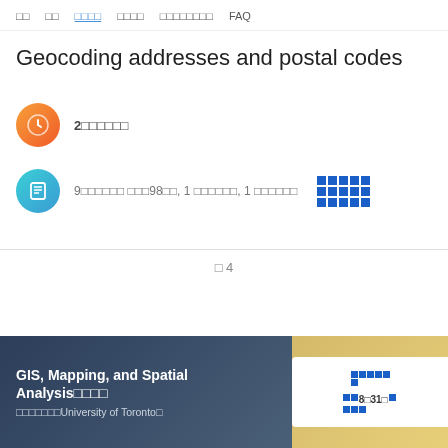□□  □□  □□□□  □□□□  □□□□□□□□  FAQ
Geocoding addresses and postal codes
2□□□□□□
9□□□□□□ □□□98□□, 1 □□□□□□, 1 □□□□□□  □□□□□
□ 4
GIS, Mapping, and Spatial Analysis□□□□
□□□□□□□University of Toronto□
□□□□□□
8□31□ □□□□